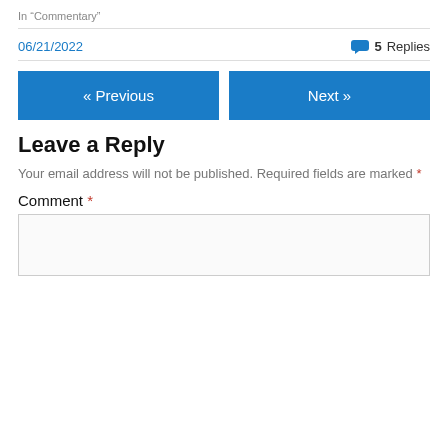In "Commentary"
06/21/2022   5 Replies
« Previous   Next »
Leave a Reply
Your email address will not be published. Required fields are marked *
Comment *